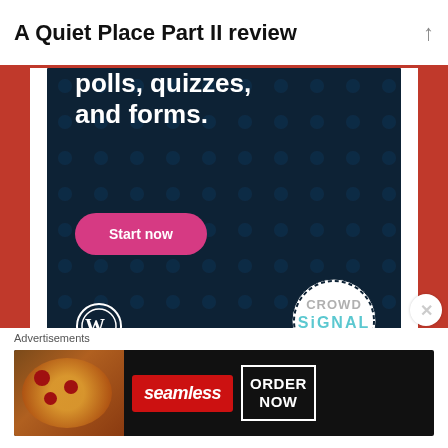A Quiet Place Part II review
[Figure (screenshot): Crowdsignal advertisement banner on dark navy background showing partial text 'polls, quizzes, and forms.' with a pink 'Start now' button, WordPress logo, and Crowdsignal logo circle]
REPORT THIS AD
SHARE THIS:
Advertisements
[Figure (screenshot): Seamless food delivery advertisement showing pizza image on left, 'seamless' text in red, and 'ORDER NOW' button]